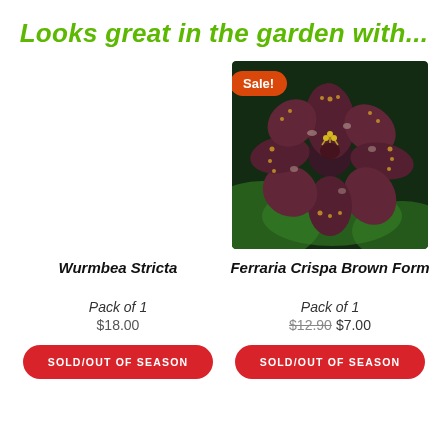Looks great in the garden with...
Wurmbea Stricta
[Figure (photo): Empty white space where a plant photo would appear for Wurmbea Stricta]
[Figure (photo): Photo of Ferraria Crispa Brown Form flower — dark reddish-brown intricate petals with fringed golden edges and yellow stamens, with Sale! badge]
Ferraria Crispa Brown Form
Pack of 1
$18.00
Pack of 1
$12.90 $7.00
SOLD/OUT OF SEASON
SOLD/OUT OF SEASON